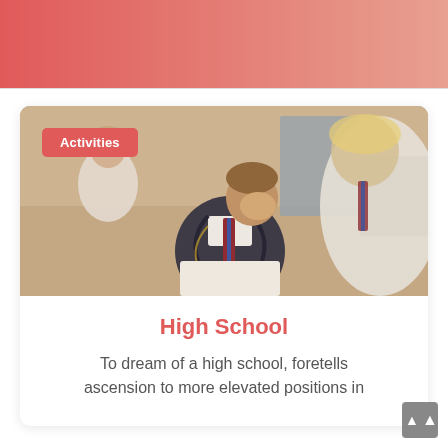[Figure (photo): Gradient header banner with salmon-to-peach color gradient]
[Figure (photo): Photo of high school students in school uniforms (blazers and ties) writing at desks in a classroom. An 'Activities' badge label is overlaid in the top-left corner.]
High School
To dream of a high school, foretells ascension to more elevated positions in